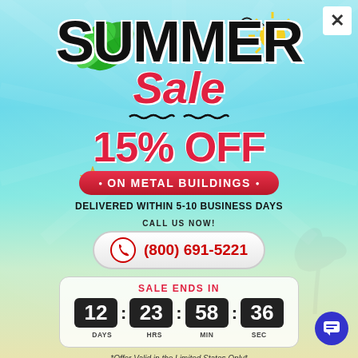[Figure (infographic): Summer Sale promotional popup with beach/summer theme background, tropical leaf, sun, birds, and star decorative elements]
SUMMER Sale
15% OFF
• ON METAL BUILDINGS •
DELIVERED WITHIN 5-10 BUSINESS DAYS
CALL US NOW!
(800) 691-5221
SALE ENDS IN
12 : 23 : 58 : 36
DAYS   HRS   MIN   SEC
*Offer Valid in the Limited States Only*